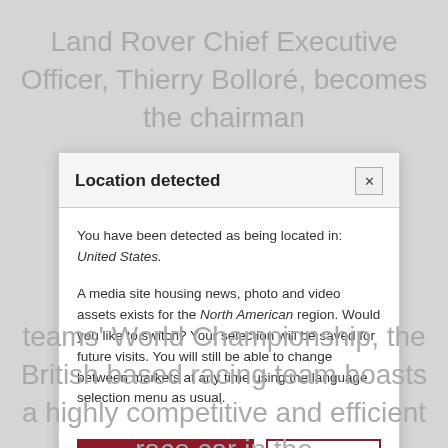Land Rover Chief Executive Officer, Thierry Bolloré, becomes the chairman
Location detected
You have been detected as being located in: United States.
A media site housing news, photo and video assets exists for the North American region. Would you like to switch? Your selection will be saved for future visits. You will still be able to change between markets at any time using the language selection menu as usual.
YES, TAKE ME THERE
NO THANKS
teams' World Championship, the British based racing team boasts a highly competitive and efficient race car in the